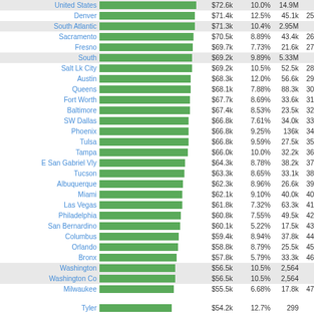[Figure (bar-chart): Median household income ranking]